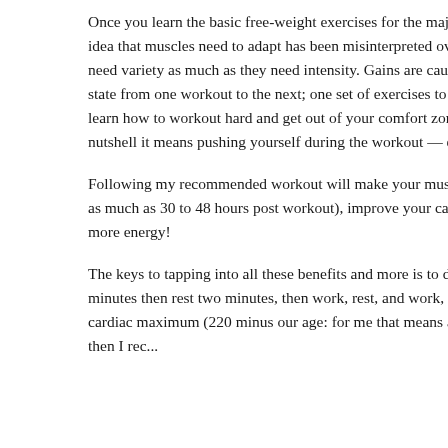Once you learn the basic free-weight exercises for the major muscles of your lower body, you can use these for life. The whole idea that muscles need to adapt has been misinterpreted over the years to think that muscles need a different exercise. It doesn't need variety as much as they need intensity. Gains are caused by overload. If you have a habit of working out in a consistent state from one workout to the next; one set of exercises to the next and you need a novel stimulus. The important thing is to learn how to workout hard and get out of your comfort zone. In Body-for-LIFE I called this the High Point Technique — in a nutshell it means pushing yourself during the workout — giving maximum effort and then reaching down deep inside and giving it even more.
Following my recommended workout will make your muscles grow, burn body fat faster because your metabolism goes up (for as much as 30 to 48 hours post workout), improve your cardio-pulmonary health, help your heart, reduce stress, give your brain more energy!
The keys to tapping into all these benefits and more is to do weight training in intervals where we work hard for a couple minutes then rest two minutes, then work, rest, and work, rest again. We want to get our heart rate up to 80% of our estimated cardiac maximum (220 minus our age: for me that means a maximum of 160 heart beats per minutes at the end of my work sets–then I re...